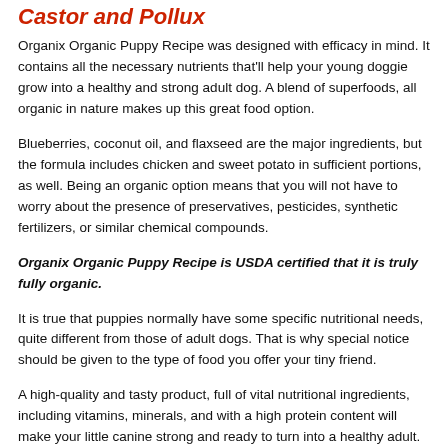Castor and Pollux
Organix Organic Puppy Recipe was designed with efficacy in mind. It contains all the necessary nutrients that'll help your young doggie grow into a healthy and strong adult dog. A blend of superfoods, all organic in nature makes up this great food option.
Blueberries, coconut oil, and flaxseed are the major ingredients, but the formula includes chicken and sweet potato in sufficient portions, as well. Being an organic option means that you will not have to worry about the presence of preservatives, pesticides, synthetic fertilizers, or similar chemical compounds.
Organix Organic Puppy Recipe is USDA certified that it is truly fully organic.
It is true that puppies normally have some specific nutritional needs, quite different from those of adult dogs. That is why special notice should be given to the type of food you offer your tiny friend.
A high-quality and tasty product, full of vital nutritional ingredients, including vitamins, minerals, and with a high protein content will make your little canine strong and ready to turn into a healthy adult.